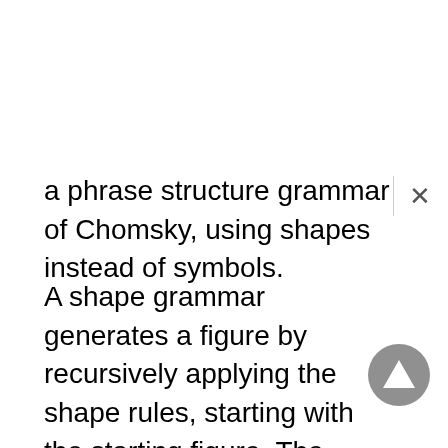a phrase structure grammar of Chomsky, using shapes instead of symbols.
A shape grammar generates a figure by recursively applying the shape rules, starting with the starting figure. The result of applying the rule to an existing figure is always a new figure consisting of the existing figure, with an occurrence of the left side of the rule in the new figure being replaced by the figure on the right side of the rule.
A shape grammar is minimally composed of three